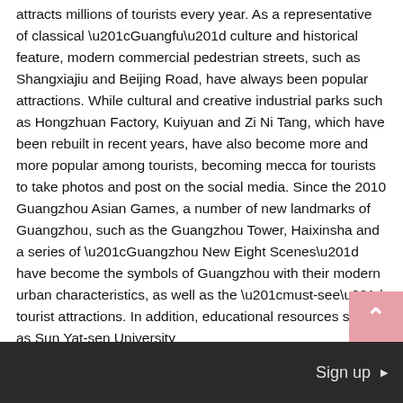attracts millions of tourists every year. As a representative of classical “Guangfu” culture and historical feature, modern commercial pedestrian streets, such as Shangxiajiu and Beijing Road, have always been popular attractions. While cultural and creative industrial parks such as Hongzhuan Factory, Kuiyuan and Zi Ni Tang, which have been rebuilt in recent years, have also become more and more popular among tourists, becoming mecca for tourists to take photos and post on the social media. Since the 2010 Guangzhou Asian Games, a number of new landmarks of Guangzhou, such as the Guangzhou Tower, Haixinsha and a series of “Guangzhou New Eight Scenes” have become the symbols of Guangzhou with their modern urban characteristics, as well as the “must-see” tourist attractions. In addition, educational resources such as Sun Yat-sen University
Sign up